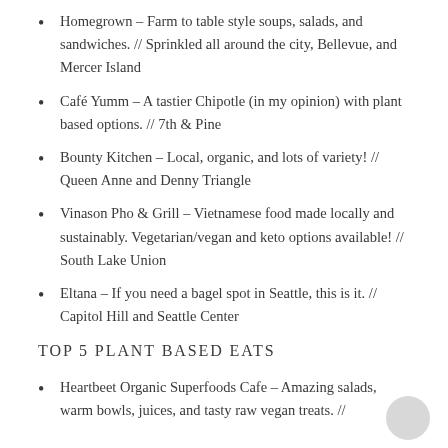Homegrown – Farm to table style soups, salads, and sandwiches. // Sprinkled all around the city, Bellevue, and Mercer Island
Café Yumm – A tastier Chipotle (in my opinion) with plant based options. // 7th & Pine
Bounty Kitchen – Local, organic, and lots of variety! // Queen Anne and Denny Triangle
Vinason Pho & Grill – Vietnamese food made locally and sustainably. Vegetarian/vegan and keto options available! // South Lake Union
Eltana – If you need a bagel spot in Seattle, this is it. // Capitol Hill and Seattle Center
TOP 5 PLANT BASED EATS
Heartbeet Organic Superfoods Cafe – Amazing salads, warm bowls, juices, and tasty raw vegan treats. //